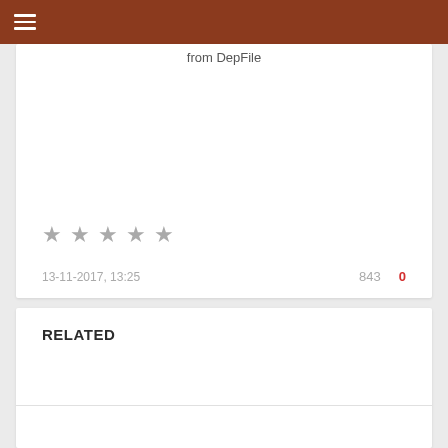≡
from DepFile
[Figure (other): Five gray star icons (rating widget, all unselected/gray)]
13-11-2017, 13:25  843  0
RELATED
related content preview text